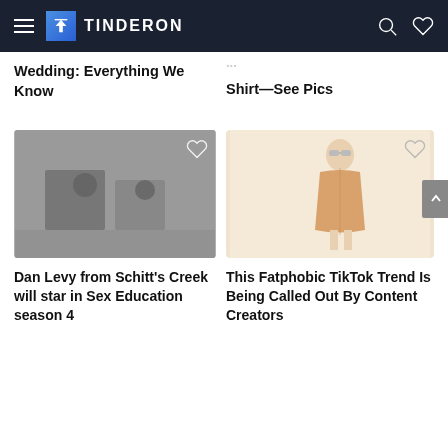TINDERON
Wedding: Everything We Know
Shirt—See Pics
[Figure (photo): Dark scene with people, appears to be from TV show Schitt's Creek]
[Figure (photo): Fashion photo of a figure in light-colored coat and sunglasses]
Dan Levy from Schitt's Creek will star in Sex Education season 4
This Fatphobic TikTok Trend Is Being Called Out By Content Creators